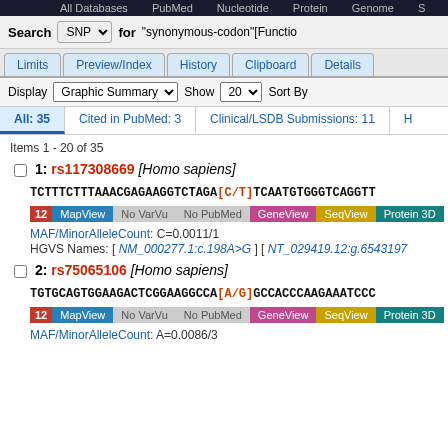All Databases   PubMed   Nucleotide   Protein   Genome   S
Search SNP for "synonymous-codon"[Functio
Limits  Preview/Index  History  Clipboard  Details
Display Graphic Summary   Show 20   Sort By
All: 35   Cited in PubMed: 3   Clinical/LSDB Submissions: 11   H
Items 1 - 20 of 35
1: rs117308669 [Homo sapiens]
TCTTTCTTTAAACGAGAAGGTCTAGA[C/T]TCAATGTGGGTCAGGTT
[Figure (infographic): Toolbar strip for result 1 showing: 12 (red), MapView (blue), No VarVu (gray), No PubMed (gray), GeneView (pink), SeqView (yellow), Protein 3D (teal)]
MAF/MinorAlleleCount: C=0.0011/1
HGVS Names: [ NM_000277.1:c.198A>G ] [ NT_029419.12:g.6543197
2: rs75065106 [Homo sapiens]
TGTGCAGTGGAAGACTCGGAAGGCCA[A/G]GCCACCCAAGAAATCCC
[Figure (infographic): Toolbar strip for result 2 showing: 12 (red), MapView (blue), No VarVu (gray), No PubMed (gray), GeneView (pink), SeqView (yellow), Protein 3D (teal)]
MAF/MinorAlleleCount: A=0.0086/3